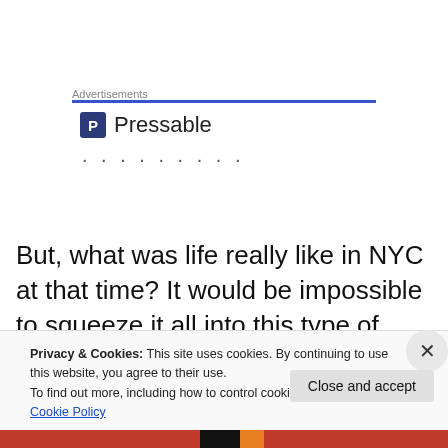Advertisements
[Figure (logo): Pressable logo with blue P icon and dotted loading indicator]
But, what was life really like in NYC at that time? It would be impossible to squeeze it all into this type of article. But,
Privacy & Cookies: This site uses cookies. By continuing to use this website, you agree to their use.
To find out more, including how to control cookies, see here: Cookie Policy
Close and accept